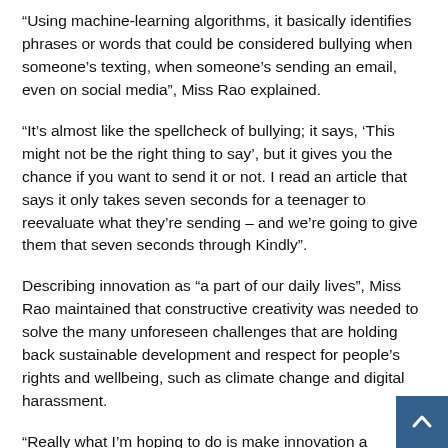“Using machine-learning algorithms, it basically identifies phrases or words that could be considered bullying when someone’s texting, when someone’s sending an email, even on social media”, Miss Rao explained.
“It’s almost like the spellcheck of bullying; it says, ‘This might not be the right thing to say’, but it gives you the chance if you want to send it or not. I read an article that says it only takes seven seconds for a teenager to reevaluate what they’re sending – and we’re going to give them that seven seconds through Kindly”.
Describing innovation as “a part of our daily lives”, Miss Rao maintained that constructive creativity was needed to solve the many unforeseen challenges that are holding back sustainable development and respect for people’s rights and wellbeing, such as climate change and digital harassment.
“Really what I’m hoping to do is make innovation a necessity,